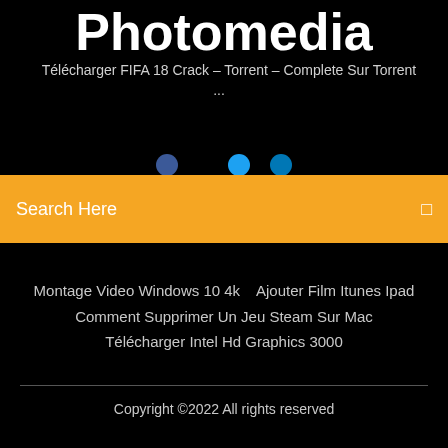Photomedia
Télécharger FIFA 18 Crack – Torrent – Complete Sur Torrent ...
[Figure (screenshot): Search bar with orange/yellow background, showing 'Search Here' placeholder text and a search icon on the right]
Montage Video Windows 10 4k   Ajouter Film Itunes Ipad Comment Supprimer Un Jeu Steam Sur Mac Télécharger Intel Hd Graphics 3000
Copyright ©2022 All rights reserved